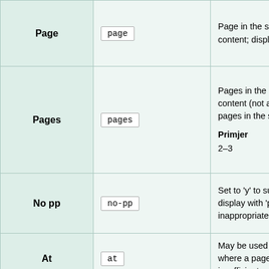| Name | Code | Description |
| --- | --- | --- |
| Page | page | Page in the source content; displays |
| Pages | pages | Pages in the source content (not an index of pages in the source) 'pp.'
Primjer
2–3 |
| No pp | no-pp | Set to 'y' to suppress display with 'page' when inappropriate (su |
| At | at | May be used instead where a page number is insufficient. |